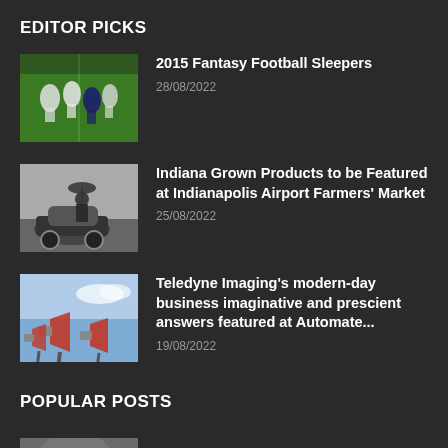EDITOR PICKS
2015 Fantasy Football Sleepers | 28/08/2022
Indiana Grown Products to be Featured at Indianapolis Airport Farmers' Market | 25/08/2022
Teledyne Imaging's modern-day business imaginative and prescient answers featured at Automate... | 19/08/2022
POPULAR POSTS
The Smarbox from MyDrive Solutions